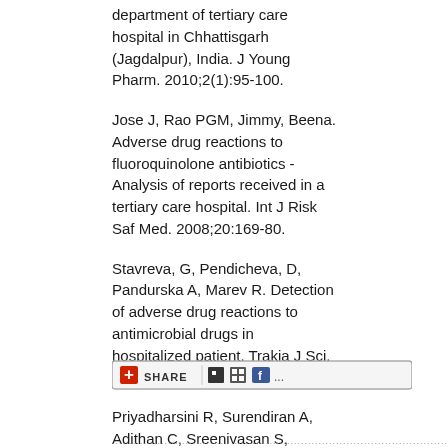department of tertiary care hospital in Chhattisgarh (Jagdalpur), India. J Young Pharm. 2010;2(1):95-100.
Jose J, Rao PGM, Jimmy, Beena. Adverse drug reactions to fluoroquinolone antibiotics - Analysis of reports received in a tertiary care hospital. Int J Risk Saf Med. 2008;20:169-80.
Stavreva, G, Pendicheva, D, Pandurska A, Marev R. Detection of adverse drug reactions to antimicrobial drugs in hospitalized patient. Trakia J Sci. 2008;6(1):7-9.
Priyadharsini R, Surendiran A, Adithan C, Sreenivasan S, Sahoo, Kumar F. A study on adverse drug reactions in pediatric patients. J Pharmacol Pharmacother. 2011;2(4):272-80.
[Figure (other): Social share bar with red plus icon, SHARE text, and social media icons including del.icio.us, QR, and Facebook]